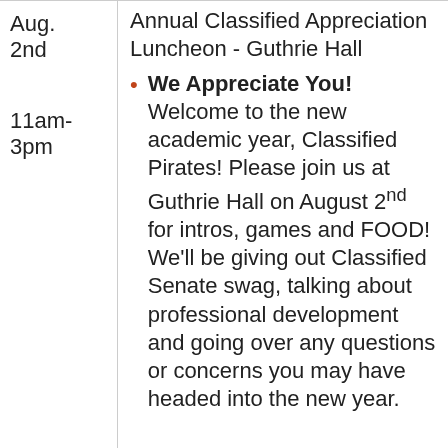Aug. 2nd
11am-3pm
Annual Classified Appreciation Luncheon - Guthrie Hall
We Appreciate You! Welcome to the new academic year, Classified Pirates! Please join us at Guthrie Hall on August 2nd for intros, games and FOOD! We'll be giving out Classified Senate swag, talking about professional development and going over any questions or concerns you may have headed into the new year.